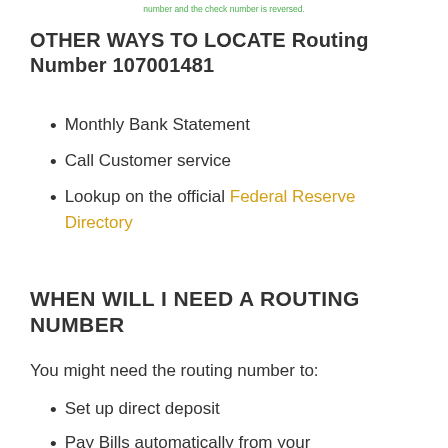number and the check number is reversed.
OTHER WAYS TO LOCATE Routing Number 107001481
Monthly Bank Statement
Call Customer service
Lookup on the official Federal Reserve Directory
WHEN WILL I NEED A ROUTING NUMBER
You might need the routing number to:
Set up direct deposit
Pay Bills automatically from your